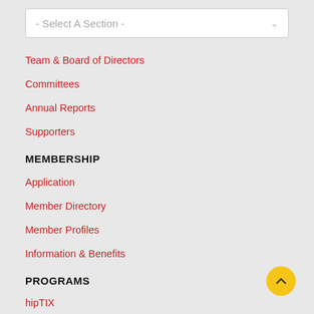- Select A Section -
Team & Board of Directors
Committees
Annual Reports
Supporters
MEMBERSHIP
Application
Member Directory
Member Profiles
Information & Benefits
PROGRAMS
hipTIX
citySPECIAL
Theatre Careers Workshop